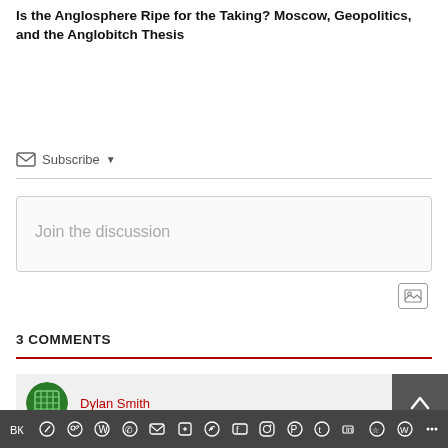Is the Anglosphere Ripe for the Taking? Moscow, Geopolitics, and the Anglobitch Thesis
Subscribe
Join the discussion
3 COMMENTS
Dylan Smith
Social sharing bar with icons: VK, Telegram, Reddit, WordPress, WhatsApp, Email, Buffer, Twitter, Facebook, Instagram, Pinterest, Tumblr, LinkedIn, Share, Wordpress, More